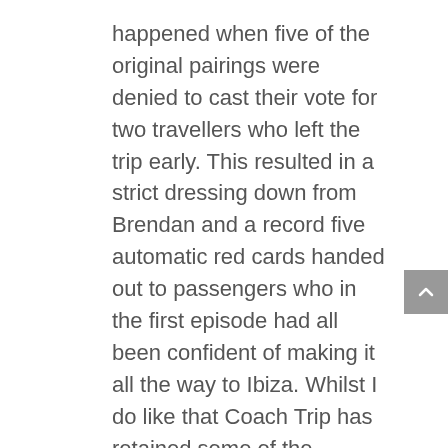happened when five of the original pairings were denied to cast their vote for two travellers who left the trip early. This resulted in a strict dressing down from Brendan and a record five automatic red cards handed out to passengers who in the first episode had all been confident of making it all the way to Ibiza. Whilst I do like that Coach Trip has retained some of the elements that made it one of my favourite guilty pleasure shows I feel the emphasis on young passengers had made it lose some of its charm. Part of the joy of watching Coach Trip was seeing couples interact with those they'd never usually spend time with whilst on the Road to Ibiza you can easily see the majority of the couples partying with each other at a club. So while I may check in occasionally just to hear Brendan's off-remarks about his passengers unfortunately this new younger E4 version of